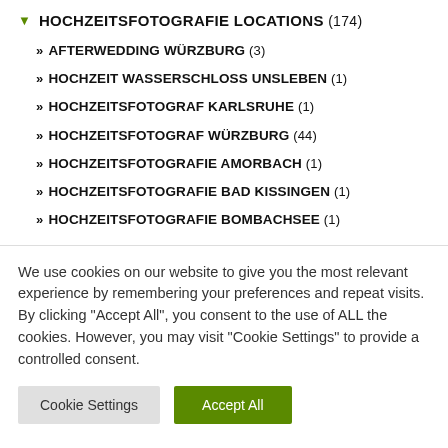▼ HOCHZEITSFOTOGRAFIE LOCATIONS (174)
» AFTERWEDDING WÜRZBURG (3)
» HOCHZEIT WASSERSCHLOSS UNSLEBEN (1)
» HOCHZEITSFOTOGRAF KARLSRUHE (1)
» HOCHZEITSFOTOGRAF WÜRZBURG (44)
» HOCHZEITSFOTOGRAFIE AMORBACH (1)
» HOCHZEITSFOTOGRAFIE BAD KISSINGEN (1)
» HOCHZEITSFOTOGRAFIE BOMBACHSEE (1)
We use cookies on our website to give you the most relevant experience by remembering your preferences and repeat visits. By clicking "Accept All", you consent to the use of ALL the cookies. However, you may visit "Cookie Settings" to provide a controlled consent.
Cookie Settings | Accept All